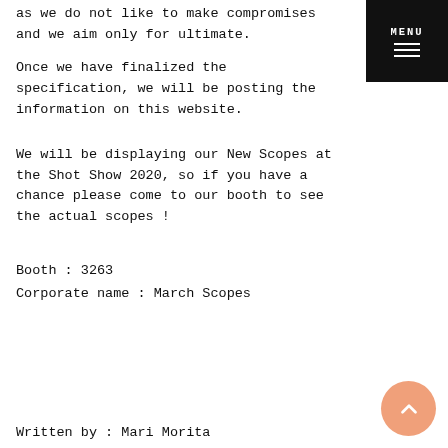as we do not like to make compromises and we aim only for ultimate.
Once we have finalized the specification, we will be posting the information on this website.
We will be displaying our New Scopes at the Shot Show 2020, so if you have a chance please come to our booth to see the actual scopes !
Booth : 3263
Corporate name : March Scopes
Written by : Mari Morita